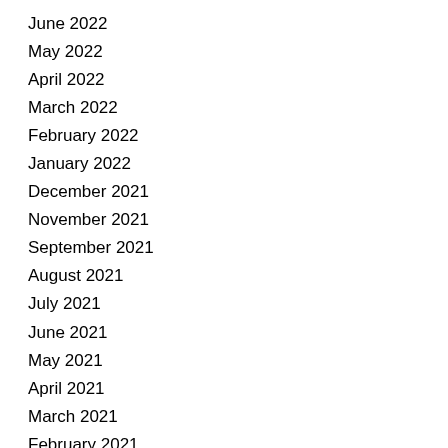June 2022
May 2022
April 2022
March 2022
February 2022
January 2022
December 2021
November 2021
September 2021
August 2021
July 2021
June 2021
May 2021
April 2021
March 2021
February 2021
January 2021